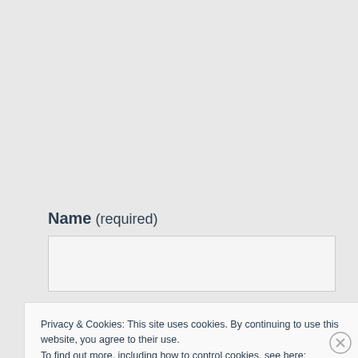Name (required)
[Figure (other): Empty text input field for Name]
Privacy & Cookies: This site uses cookies. By continuing to use this website, you agree to their use.
To find out more, including how to control cookies, see here:
Cookie Policy
Close and accept